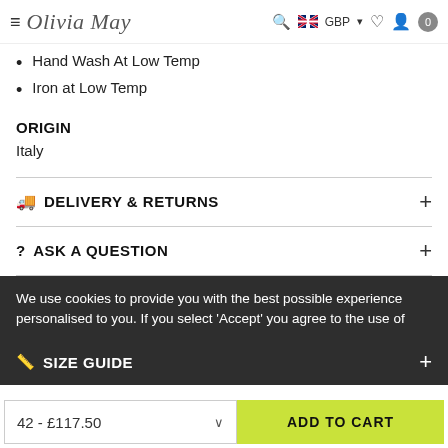Olivia May — GBP
Hand Wash At Low Temp
Iron at Low Temp
ORIGIN
Italy
DELIVERY & RETURNS
ASK A QUESTION
We use cookies to provide you with the best possible experience personalised to you. If you select 'Accept' you agree to the use of
SIZE GUIDE
42 - £117.50
ADD TO CART